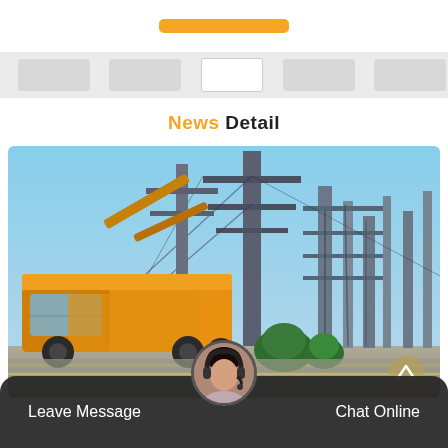[Figure (other): Orange button in top navigation bar]
[Figure (other): Thumbnail/preview image strip with gray boxes]
News Detail
[Figure (photo): Photo of a yellow utility/boom truck parked near an electrical substation with power transmission towers and infrastructure in the background, under a clear sky]
[Figure (other): Bottom chat bar with Leave Message and Chat Online buttons, and a customer service avatar in the center]